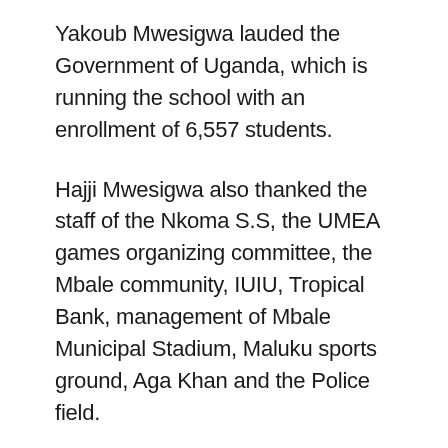Yakoub Mwesigwa lauded the Government of Uganda, which is running the school with an enrollment of 6,557 students.
Hajji Mwesigwa also thanked the staff of the Nkoma S.S, the UMEA games organizing committee, the Mbale community, IUIU, Tropical Bank, management of Mbale Municipal Stadium, Maluku sports ground, Aga Khan and the Police field.
The opening day was also graced by His Eminence the District Khadi of Bugisu Region Hajji Ahmed Isa Masaba, Chairperson Uganda Muslim Teachers Association, Chairman Board of Governors, Nkoma S.S, Chairman PTA Nkoma S.S and various head